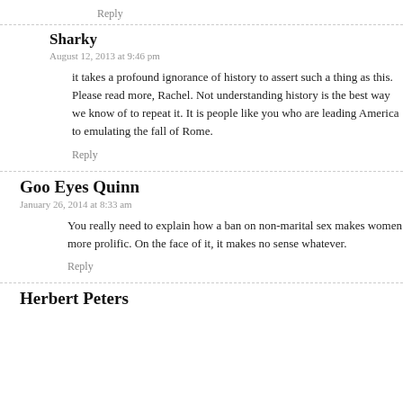Reply
Sharky
August 12, 2013 at 9:46 pm
it takes a profound ignorance of history to assert such a thing as this. Please read more, Rachel. Not understanding history is the best way we know of to repeat it. It is people like you who are leading America to emulating the fall of Rome.
Reply
Goo Eyes Quinn
January 26, 2014 at 8:33 am
You really need to explain how a ban on non-marital sex makes women more prolific. On the face of it, it makes no sense whatever.
Reply
Herbert Peters